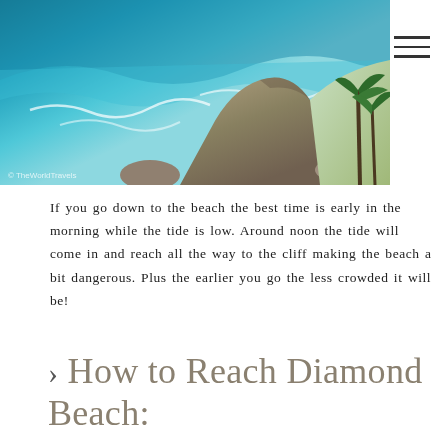[Figure (photo): Aerial view of a rocky cliff coastline with turquoise ocean waves and palm trees, Diamond Beach area]
If you go down to the beach the best time is early in the morning while the tide is low. Around noon the tide will come in and reach all the way to the cliff making the beach a bit dangerous. Plus the earlier you go the less crowded it will be!
› How to Reach Diamond Beach:
If you are renting a motorbike and driving yourself then type Atuh Beach parking into your GPS. Or you can book a taxi/driver (-8.77412967, 115.4752999)